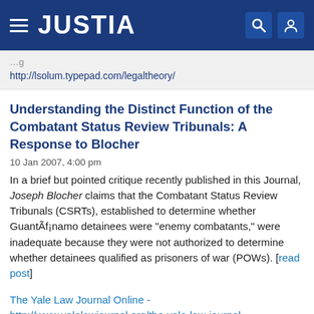[Figure (screenshot): Justia website header bar with hamburger menu icon, JUSTIA logo in white on dark blue background, and search and user profile icons on the right]
http://lsolum.typepad.com/legaltheory/
Understanding the Distinct Function of the Combatant Status Review Tribunals: A Response to Blocher
10 Jan 2007, 4:00 pm
In a brief but pointed critique recently published in this Journal, Joseph Blocher claims that the Combatant Status Review Tribunals (CSRTs), established to determine whether GuantÃf¡namo detainees were "enemy combatants," were inadequate because they were not authorized to determine whether detainees qualified as prisoners of war (POWs). [read post]
The Yale Law Journal Online - http://www.yalelawjournal.org/the-yale-law-journal-